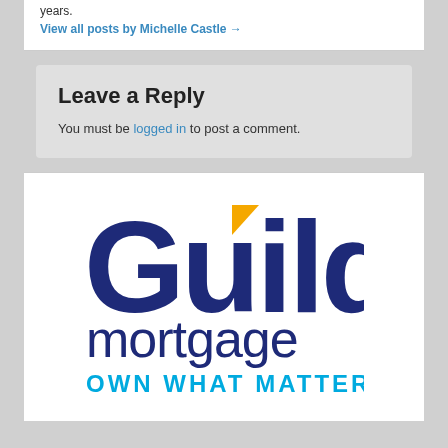years.
View all posts by Michelle Castle →
Leave a Reply
You must be logged in to post a comment.
[Figure (logo): Guild Mortgage logo with text 'Own What Matters']